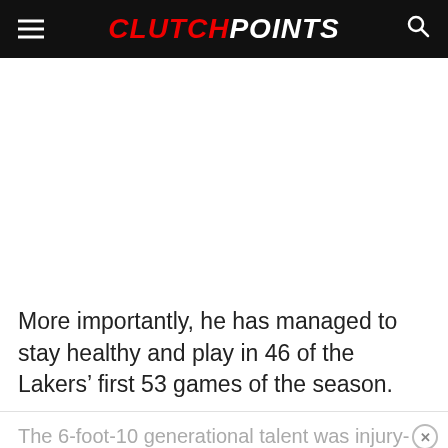CLUTCHPOINTS
[Figure (other): Advertisement / blank white area]
More importantly, he has managed to stay healthy and play in 46 of the Lakers’ first 53 games of the season.
The 6-foot-10 generational talent was injury-prone in seven seasons with the New Orleans